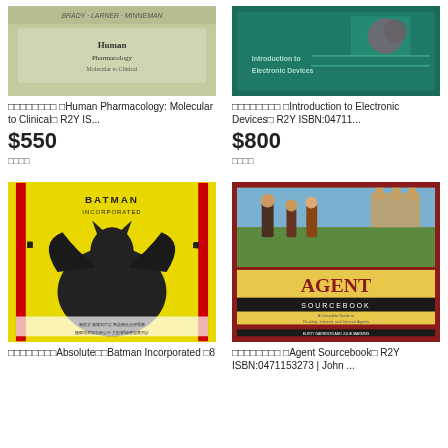[Figure (photo): Book cover of Human Pharmacology: Molecular to Clinical with olive/green background and authors BRADY, LARNER, MINNEMAN]
[Figure (photo): Book cover of Introduction to Electronic Devices with dark teal background and circuit/DNA imagery]
□□□□□□□□ □Human Pharmacology: Molecular to Clinical□ R2Y IS...
$550
□□□□
□□□□□□□□ □Introduction to Electronic Devices□ R2Y ISBN:04711...
$800
□□□□
[Figure (photo): Book cover of Absolute Batman Incorporated #8 with yellow background, Batman silhouette, Chinese text]
[Figure (photo): Book cover of Agent Sourcebook by Elroy Garrison and Julie Marking published by John Wiley]
□□□□□□□□Absolute□□Batman Incorporated □8
□□□□□□□□ □Agent Sourcebook□ R2Y ISBN:0471153273 | John ...